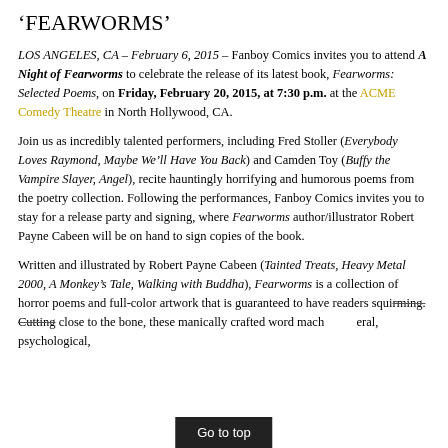'FEARWORMS'
LOS ANGELES, CA – February 6, 2015 – Fanboy Comics invites you to attend A Night of Fearworms to celebrate the release of its latest book, Fearworms: Selected Poems, on Friday, February 20, 2015, at 7:30 p.m. at the ACME Comedy Theatre in North Hollywood, CA.
Join us as incredibly talented performers, including Fred Stoller (Everybody Loves Raymond, Maybe We'll Have You Back) and Camden Toy (Buffy the Vampire Slayer, Angel), recite hauntingly horrifying and humorous poems from the poetry collection. Following the performances, Fanboy Comics invites you to stay for a release party and signing, where Fearworms author/illustrator Robert Payne Cabeen will be on hand to sign copies of the book.
Written and illustrated by Robert Payne Cabeen (Tainted Treats, Heavy Metal 2000, A Monkey's Tale, Walking with Buddha), Fearworms is a collection of horror poems and full-color artwork that is guaranteed to have readers squirming. Cutting close to the bone, these manically crafted word machines eral, psychological,